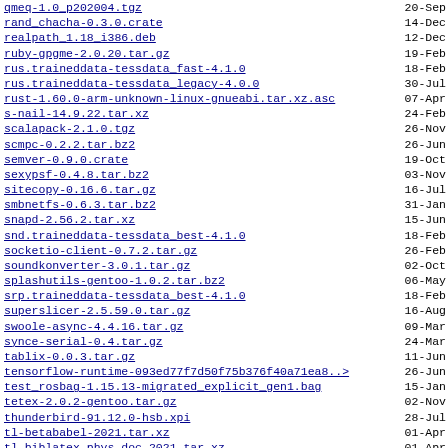qmeq-1.0_p202004.tgz  20-Sep
rand_chacha-0.3.0.crate  14-Dec
realpath_1.18_i386.deb  12-Dec
ruby-gpgme-2.0.20.tar.gz  19-Feb
rus.traineddata-tessdata_fast-4.1.0  18-Feb
rus.traineddata-tessdata_legacy-4.0.0  30-Jul
rust-1.60.0-arm-unknown-linux-gnueabi.tar.xz.asc  07-Apr
s-nail-14.9.22.tar.xz  24-Feb
scalapack-2.1.0.tgz  26-Nov
scmpc-0.2.2.tar.bz2  26-Jun
semver-0.9.0.crate  19-Oct
sexypsf-0.4.8.tar.bz2  03-Nov
sitecopy-0.16.6.tar.gz  16-Jul
smbnetfs-0.6.3.tar.bz2  31-Jan
snapd-2.56.2.tar.xz  15-Jun
snd.traineddata-tessdata_best-4.1.0  18-Feb
socketio-client-0.7.2.tar.gz  26-Feb
soundkonverter-3.0.1.tar.gz  02-Oct
splashutils-gentoo-1.0.2.tar.bz2  06-May
srp.traineddata-tessdata_best-4.1.0  18-Feb
superslicer-2.5.59.0.tar.gz  16-Aug
swoole-async-4.4.16.tar.gz  09-Mar
synce-serial-0.4.tar.gz  24-Mar
tablix-0.0.3.tar.gz  11-Jun
tensorflow-runtime-093ed77f7d50f75b376f40a71ea8..>  26-Jun
test_rosbag-1.15.13-migrated_explicit_gen1.bag  15-Jan
tetex-2.0.2-gentoo.tar.gz  02-Nov
thunderbird-91.12.0-hsb.xpi  28-Jul
tl-betababel-2021.tar.xz  01-Apr
tl-biblatex-phys.doc-2021.tar.xz  01-Apr